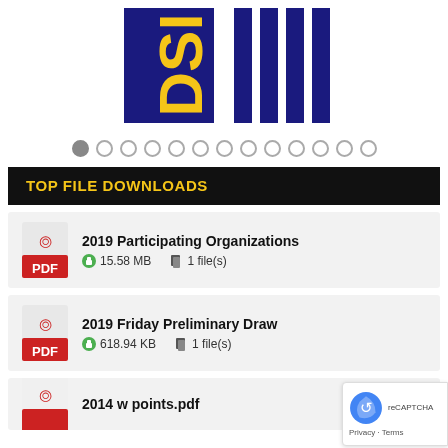[Figure (logo): DSI logo with yellow letters on dark blue background and vertical blue stripes]
[Figure (other): Carousel navigation dots, first dot filled/selected, 13 total dots]
TOP FILE DOWNLOADS
2019 Participating Organizations — 15.58 MB — 1 file(s)
2019 Friday Preliminary Draw — 618.94 KB — 1 file(s)
2014 w points.pdf (partial)